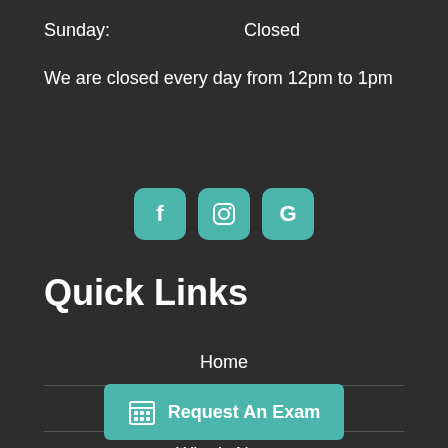Sunday: Closed
We are closed every day from 12pm to 1pm
[Figure (infographic): Three teal social media icon buttons: Facebook (f), Instagram (camera/square), Google (G)]
Quick Links
Home
Contact Us
What's New
Request An Exam